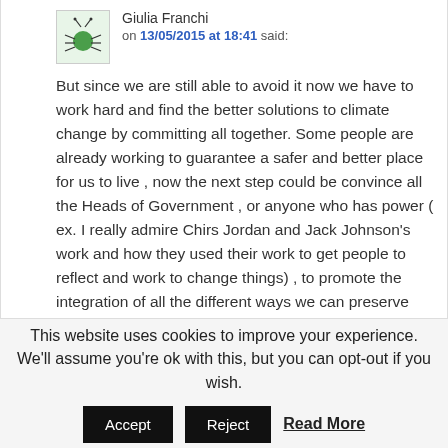Giulia Franchi on 13/05/2015 at 18:41 said:
But since we are still able to avoid it now we have to work hard and find the better solutions to climate change by committing all together. Some people are already working to guarantee a safer and better place for us to live , now the next step could be convince all the Heads of Government , or anyone who has power ( ex. I really admire Chirs Jordan and Jack Johnson's work and how they used their work to get people to reflect and work to change things) , to promote the integration of all the different ways we can preserve
This website uses cookies to improve your experience. We'll assume you're ok with this, but you can opt-out if you wish.